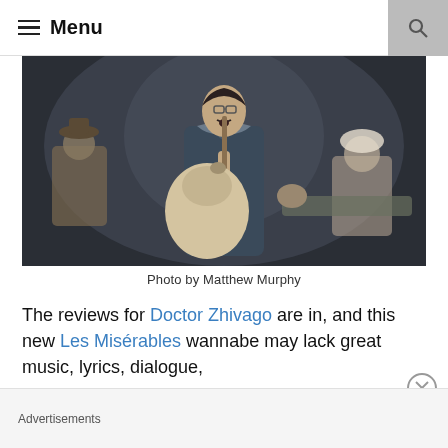≡ Menu
[Figure (photo): A theatrical stage production photo showing an actor in the center wearing a dark coat and carrying a large sack over his shoulder, with other performers visible in the background on a dimly lit stage.]
Photo by Matthew Murphy
The reviews for Doctor Zhivago are in, and this new Les Misérables wannabe may lack great music, lyrics, dialogue,
Advertisements